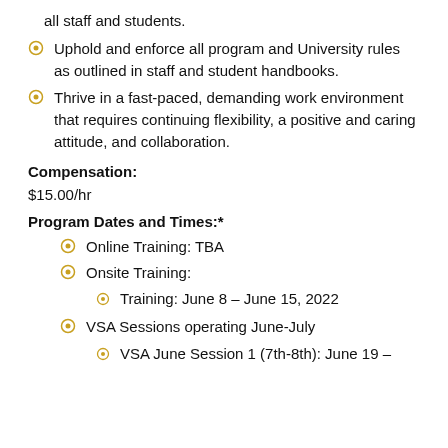all staff and students.
Uphold and enforce all program and University rules as outlined in staff and student handbooks.
Thrive in a fast-paced, demanding work environment that requires continuing flexibility, a positive and caring attitude, and collaboration.
Compensation:
$15.00/hr
Program Dates and Times:*
Online Training: TBA
Onsite Training:
Training: June 8 – June 15, 2022
VSA Sessions operating June-July
VSA June Session 1 (7th-8th): June 19 –